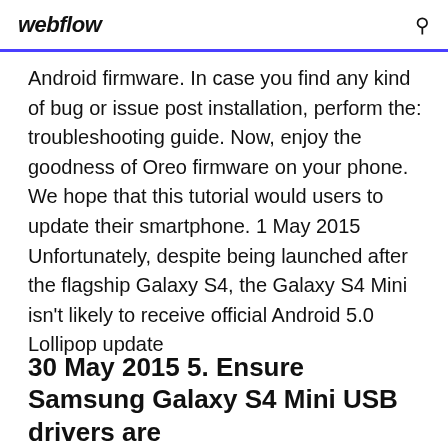webflow
Android firmware. In case you find any kind of bug or issue post installation, perform the: troubleshooting guide. Now, enjoy the goodness of Oreo firmware on your phone. We hope that this tutorial would users to update their smartphone. 1 May 2015 Unfortunately, despite being launched after the flagship Galaxy S4, the Galaxy S4 Mini isn't likely to receive official Android 5.0 Lollipop update
30 May 2015 5. Ensure Samsung Galaxy S4 Mini USB drivers are